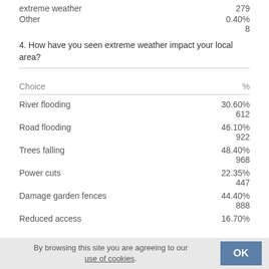extreme weather
279
Other
0.40%
8
4. How have you seen extreme weather impact your local area?
| Choice | % |
| --- | --- |
| River flooding | 30.60%
612 |
| Road flooding | 46.10%
922 |
| Trees falling | 48.40%
968 |
| Power cuts | 22.35%
447 |
| Damage garden fences | 44.40%
888 |
| Reduced access | 16.70% |
By browsing this site you are agreeing to our use of cookies.